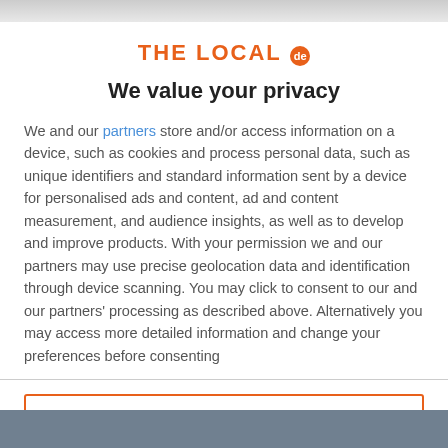[Figure (logo): THE LOCAL de logo in orange with circular badge]
We value your privacy
We and our partners store and/or access information on a device, such as cookies and process personal data, such as unique identifiers and standard information sent by a device for personalised ads and content, ad and content measurement, and audience insights, as well as to develop and improve products. With your permission we and our partners may use precise geolocation data and identification through device scanning. You may click to consent to our and our partners' processing as described above. Alternatively you may access more detailed information and change your preferences before consenting
ACCEPT
MORE OPTIONS